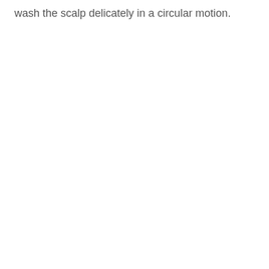wash the scalp delicately in a circular motion.